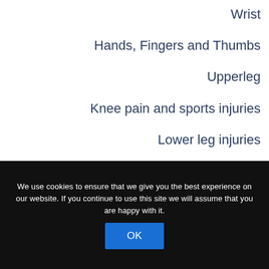Wrist
Hands, Fingers and Thumbs
Upperleg
Knee pain and sports injuries
Lower leg injuries
Ankle injuries
Foot Injuries
We use cookies to ensure that we give you the best experience on our website. If you continue to use this site we will assume that you are happy with it.
OK